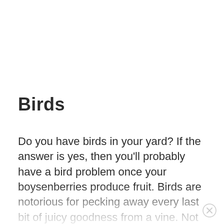Birds
Do you have birds in your yard? If the answer is yes, then you'll probably have a bird problem once your boysenberries produce fruit. Birds are notorious for pecking away every last bit of juicy goodness from a vine. Not cool at all.